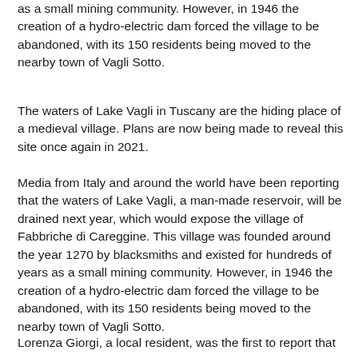as a small mining community. However, in 1946 the creation of a hydro-electric dam forced the village to be abandoned, with its 150 residents being moved to the nearby town of Vagli Sotto.
The waters of Lake Vagli in Tuscany are the hiding place of a medieval village. Plans are now being made to reveal this site once again in 2021.
Media from Italy and around the world have been reporting that the waters of Lake Vagli, a man-made reservoir, will be drained next year, which would expose the village of Fabbriche di Careggine. This village was founded around the year 1270 by blacksmiths and existed for hundreds of years as a small mining community. However, in 1946 the creation of a hydro-electric dam forced the village to be abandoned, with its 150 residents being moved to the nearby town of Vagli Sotto.
Lorenza Giorgi, a local resident, was the first to report that